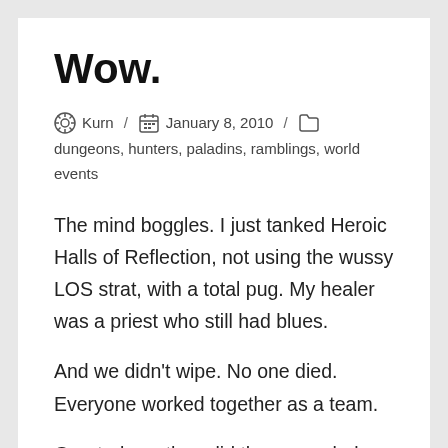Wow.
Kurn / January 8, 2010 / dungeons, hunters, paladins, ramblings, world events
The mind boggles. I just tanked Heroic Halls of Reflection, not using the wussy LOS strat, with a total pug. My healer was a priest who still had blues.
And we didn't wipe. No one died. Everyone worked together as a team.
Granted, we then did the wussy ledge strat for the escape bit, but considering how well they'd done on Falric and Marwyn, I didn't complain too much.